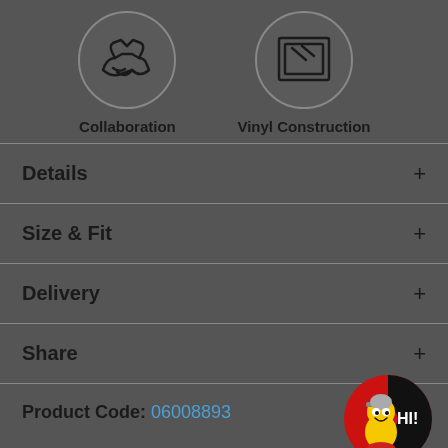[Figure (illustration): Two circular icons with dark background: left shows a handshake icon labeled 'Collaboration', right shows a vinyl/frame icon labeled 'Vinyl Construction']
Details +
Size & Fit +
Delivery +
Share +
Product Code: 06008893
[Figure (logo): Round red badge logo with cartoon sneaker character and 'HI!' text]